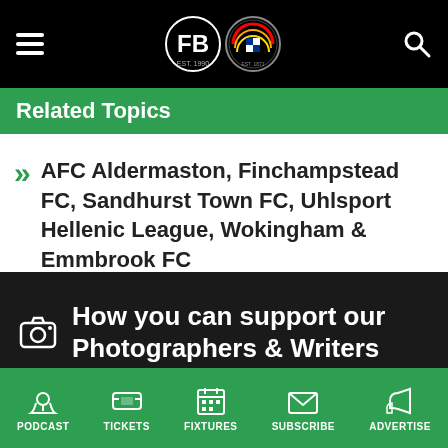Football in Berkshire - Header navigation with hamburger menu, logos, and search icon
Related Topics
AFC Aldermaston, Finchampstead FC, Sandhurst Town FC, Uhlsport Hellenic League, Wokingham & Emmbrook FC
How you can support our Photographers & Writers
Football in Berkshire is a not-for-profit site run by
PODCAST | TICKETS | FIXTURES | SUBSCRIBE | ADVERTISE